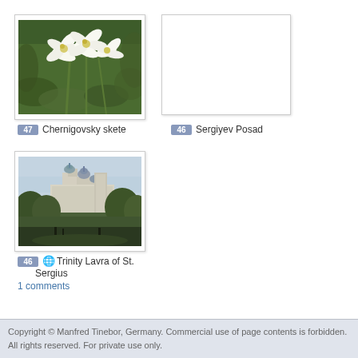[Figure (photo): White lily flowers against green foliage background]
47 Chernigovsky skete
[Figure (photo): Blank/white image placeholder for Sergiyev Posad]
46 Sergiyev Posad
[Figure (photo): Trinity Lavra of St. Sergius monastery with golden domes visible above trees, hazy sky]
46 🌐 Trinity Lavra of St. Sergius
1 comments
Copyright © Manfred Tinebor, Germany. Commercial use of page contents is forbidden. All rights reserved. For private use only.